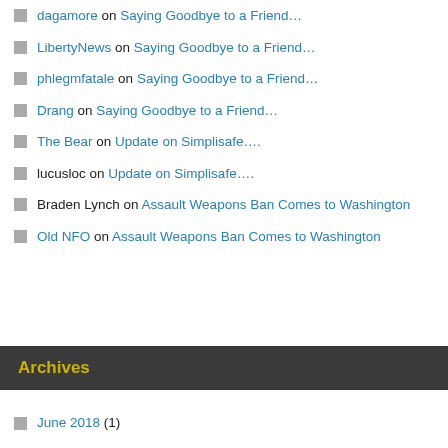dagamore on Saying Goodbye to a Friend…
LibertyNews on Saying Goodbye to a Friend…
phlegmfatale on Saying Goodbye to a Friend…
Drang on Saying Goodbye to a Friend…
The Bear on Update on Simplisafe….
lucusloc on Update on Simplisafe….
Braden Lynch on Assault Weapons Ban Comes to Washington
Old NFO on Assault Weapons Ban Comes to Washington
Archives
June 2018 (1)